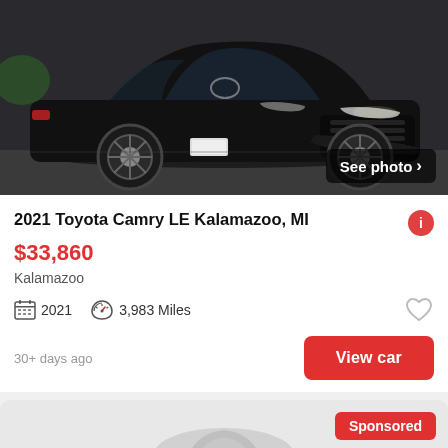[Figure (photo): Black 2021 Toyota Camry LE sedan photographed from front-right angle in a parking lot, with 'See photo >' button overlay]
2021 Toyota Camry LE Kalamazoo, MI
$33,860
Kalamazoo
2021  3,983 Miles
30+ days ago
View car
[Figure (photo): Sponsored car listing placeholder with generic car silhouette icon, 'Sponsored' badge, and 'See photo >' button]